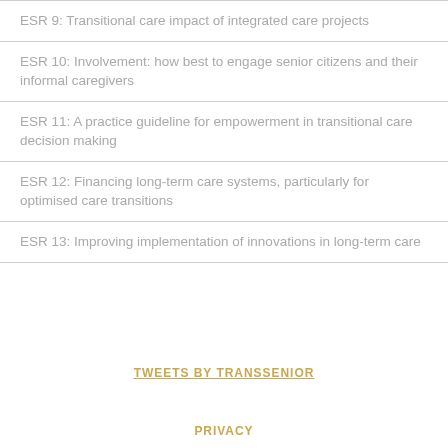ESR 9: Transitional care impact of integrated care projects
ESR 10: Involvement: how best to engage senior citizens and their informal caregivers
ESR 11: A practice guideline for empowerment in transitional care decision making
ESR 12: Financing long-term care systems, particularly for optimised care transitions
ESR 13: Improving implementation of innovations in long-term care
TWEETS BY TRANSSENIOR
PRIVACY